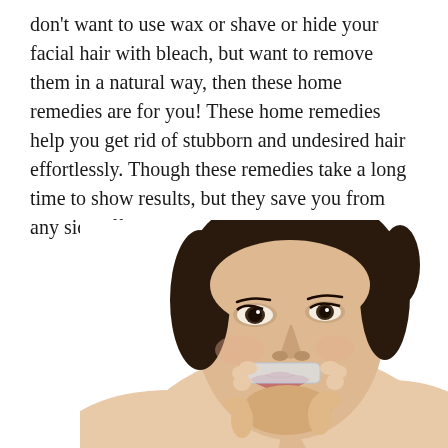don't want to use wax or shave or hide your facial hair with bleach, but want to remove them in a natural way, then these home remedies are for you! These home remedies help you get rid of stubborn and undesired hair effortlessly. Though these remedies take a long time to show results, but they save you from any side effects.
[Figure (photo): A young woman with dark hair pulled back, applying what appears to be a wax strip or transparent strip to her upper lip area for facial hair removal. She is looking slightly upward, against a white background.]